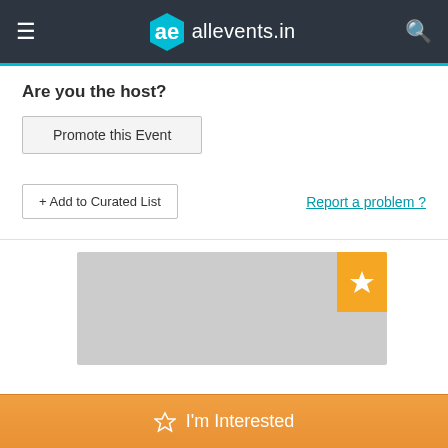allevents.in
Are you the host?
Promote this Event
+ Add to Curated List
Report a problem ?
[Figure (screenshot): Gray placeholder card with orange star badge in top-right corner]
☆ I'm Interested